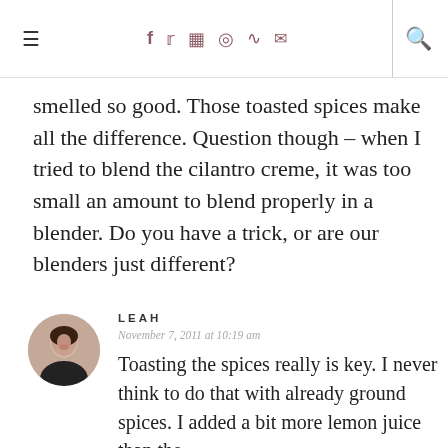≡  f  𝕥  📷  𝓟  ))) ✉  🔍
smelled so good. Those toasted spices make all the difference. Question though – when I tried to blend the cilantro creme, it was too small an amount to blend properly in a blender. Do you have a trick, or are our blenders just different?
LEAH
November 7, 2011 at 10:19 am
Toasting the spices really is key. I never think to do that with already ground spices. I added a bit more lemon juice than the